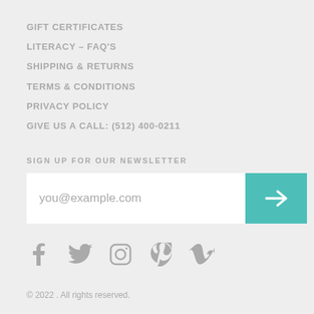GIFT CERTIFICATES
LITERACY – FAQ'S
SHIPPING & RETURNS
TERMS & CONDITIONS
PRIVACY POLICY
GIVE US A CALL: (512) 400-0211
SIGN UP FOR OUR NEWSLETTER
[Figure (other): Email newsletter signup form with text input showing placeholder 'you@example.com' and a teal arrow submit button]
[Figure (other): Social media icons row: Facebook, Twitter, Instagram, Pinterest, Vimeo]
© 2022 . All rights reserved.